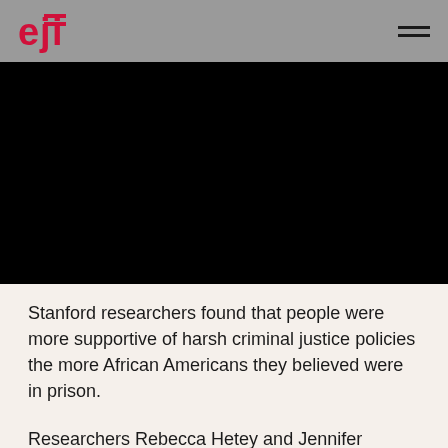EJI
[Figure (photo): Black banner/image area below the navigation header]
Stanford researchers found that people were more supportive of harsh criminal justice policies the more African Americans they believed were in prison.
Researchers Rebecca Hetey and Jennifer Eberhardt